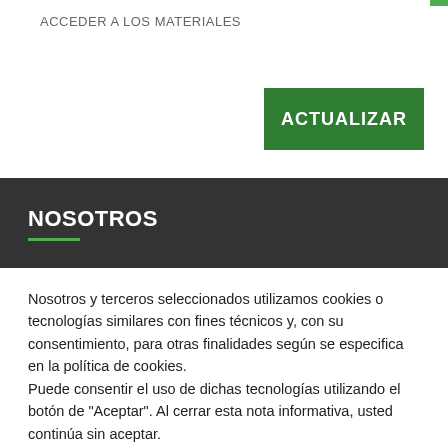ACCEDER A LOS MATERIALES
ACTUALIZAR
NOSOTROS
Nosotros y terceros seleccionados utilizamos cookies o tecnologías similares con fines técnicos y, con su consentimiento, para otras finalidades según se especifica en la política de cookies.
Puede consentir el uso de dichas tecnologías utilizando el botón de "Aceptar". Al cerrar esta nota informativa, usted continúa sin aceptar.
Configuración de cookies
Aceptar todo